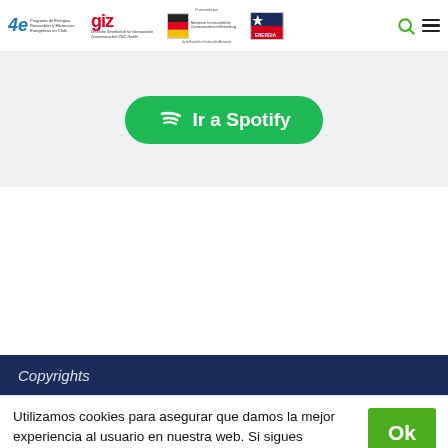4e Programa de Energías Renovables y Eficiencias Energéticas en Chile | giz Deutsche Gesellschaft für Internationale Zusammenarbeit (GIZ) GmbH | Logos institucionales
[Figure (other): Green Spotify button with Spotify logo and text 'Ir a Spotify']
Copyrights
Utilizamos cookies para asegurar que damos la mejor experiencia al usuario en nuestra web. Si sigues utilizando este sitio asumiremos que estás de acuerdo. Puedes revisar nuestra política de privacidad aquí ! Protección de datos